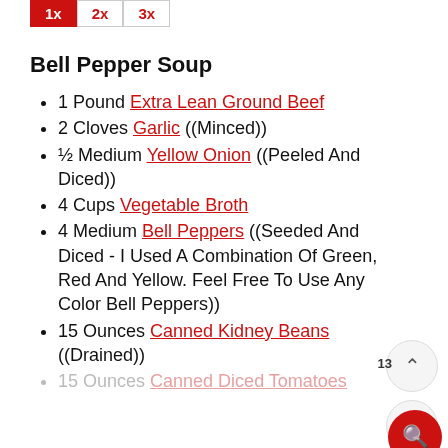1x 2x 3x (multiplier selector)
Bell Pepper Soup
1 Pound Extra Lean Ground Beef
2 Cloves Garlic ((Minced))
½ Medium Yellow Onion ((Peeled And Diced))
4 Cups Vegetable Broth
4 Medium Bell Peppers ((Seeded And Diced - I Used A Combination Of Green, Red And Yellow. Feel Free To Use Any Color Bell Peppers))
15 Ounces Canned Kidney Beans ((Drained))
15 Ounces Canned Diced Tomatoes